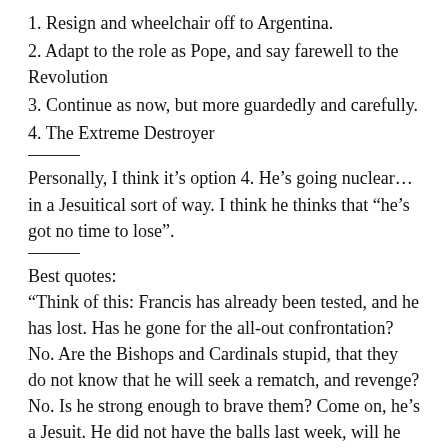1. Resign and wheelchair off to Argentina.
2. Adapt to the role as Pope, and say farewell to the Revolution
3. Continue as now, but more guardedly and carefully.
4. The Extreme Destroyer
Personally, I think it’s option 4. He’s going nuclear… in a Jesuitical sort of way. I think he thinks that “he’s got no time to lose”.
Best quotes:
“Think of this: Francis has already been tested, and he has lost. Has he gone for the all-out confrontation? No. Are the Bishops and Cardinals stupid, that they do not know that he will seek a rematch, and revenge? No. Is he strong enough to brave them? Come on, he’s a Jesuit. He did not have the balls last week, will he grow a pair at (almost) Seventy Nine?”
Obviously, Munabor goes with option 3.